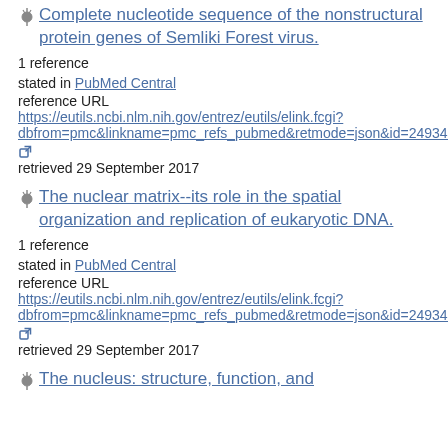Complete nucleotide sequence of the nonstructural protein genes of Semliki Forest virus.
1 reference
stated in PubMed Central
reference URL https://eutils.ncbi.nlm.nih.gov/entrez/eutils/elink.fcgi?dbfrom=pmc&linkname=pmc_refs_pubmed&retmode=json&id=249342
retrieved 29 September 2017
The nuclear matrix--its role in the spatial organization and replication of eukaryotic DNA.
1 reference
stated in PubMed Central
reference URL https://eutils.ncbi.nlm.nih.gov/entrez/eutils/elink.fcgi?dbfrom=pmc&linkname=pmc_refs_pubmed&retmode=json&id=249342
retrieved 29 September 2017
The nucleus: structure, function, and